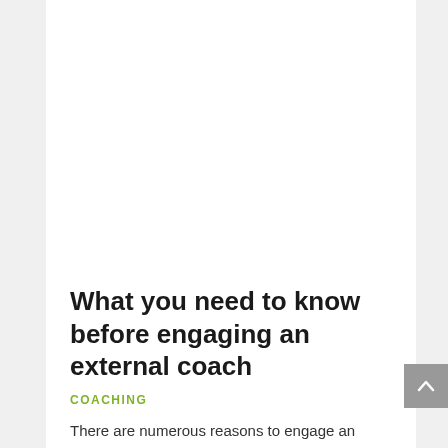What you need to know before engaging an external coach
COACHING
There are numerous reasons to engage an external coach to work with…